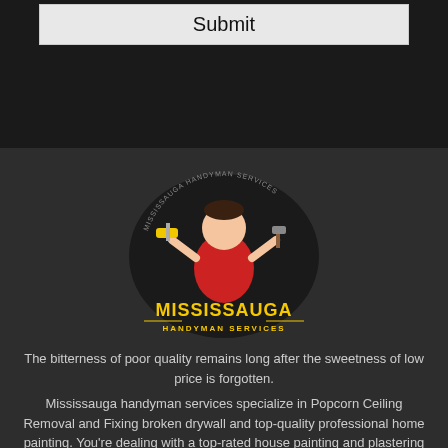Submit
[Figure (logo): Mississauga Handyman Services logo featuring a cartoon handyman in red shirt holding a paint roller and hammer, with yellow text 'MISSISSAUGA HANDYMAN SERVICES' on a dark circular badge]
The bitterness of poor quality remains long after the sweetness of low price is forgotten.
Mississauga handyman services specialize in Popcorn Ceiling Removal and Fixing broken drywall and top-quality professional home painting. You're dealing with a top-rated house painting and plastering and drywall company that knows what they're